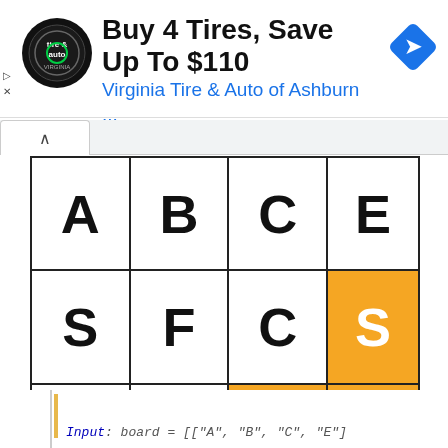[Figure (screenshot): Ad banner: Virginia Tire & Auto logo, text 'Buy 4 Tires, Save Up To $110', subtitle 'Virginia Tire & Auto of Ashburn ...', blue navigation arrow diamond icon on right]
[Figure (table-as-image): 3x4 grid of letters. Row 1: A, B, C, E (white). Row 2: S, F, C, S (last cell orange with white S). Row 3: A, D, E, E (last two cells orange with white letters).]
Input: board = [["A", "B", "C", "E"]